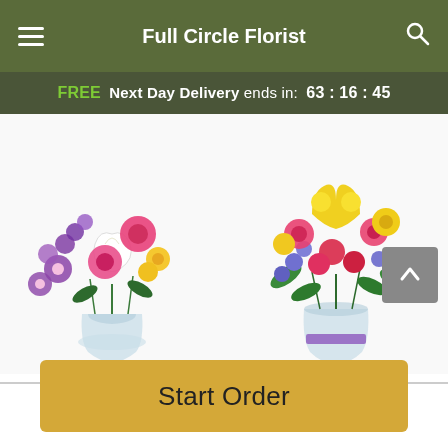Full Circle Florist
FREE Next Day Delivery ends in: 63 : 16 : 45
[Figure (photo): Special Day Bouquet - mixed flower arrangement with pink roses, white lilies, purple flowers in a glass vase]
Special Day Bouquet
From $66.95
[Figure (photo): Budding Blooms - colorful bouquet with yellow tulips, pink carnations, red flowers, blue flowers in a glass vase with purple ribbon]
Budding Blooms
From $81.95
Start Order